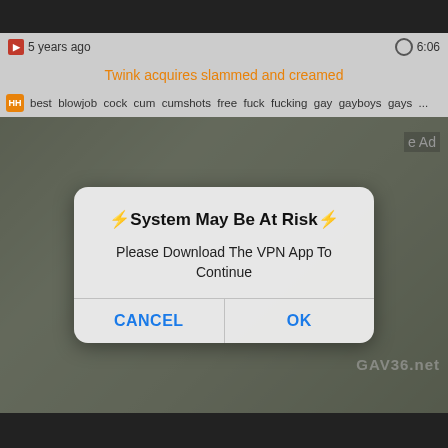[Figure (screenshot): Screenshot of a video website page showing a video thumbnail with a mobile OS-style popup dialog overlay. The background shows a video player area with an outdoor scene. A popup dialog reads: System May Be At Risk — Please Download The VPN App To Continue — with CANCEL and OK buttons.]
5 years ago
6:06
Twink acquires slammed and creamed
best blowjob cock cum cumshots free fuck fucking gay gayboys gays ...
⚡System May Be At Risk⚡
Please Download The VPN App To Continue
CANCEL
OK
GAV36.net